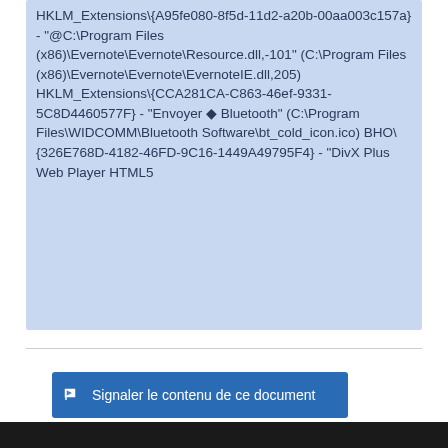HKLM_Extensions\{A95fe080-8f5d-11d2-a20b-00aa003c157a} - "@C:\Program Files (x86)\Evernote\Evernote\Resource.dll,-101" (C:\Program Files (x86)\Evernote\Evernote\EvernoteIE.dll,205) HKLM_Extensions\{CCA281CA-C863-46ef-9331-5C8D4460577F} - "Envoyer � Bluetooth" (C:\Program Files\WIDCOMM\Bluetooth Software\bt_cold_icon.ico) BHO\{326E768D-4182-46FD-9C16-1449A49795F4} - "DivX Plus Web Player HTML5
Signaler le contenu de ce document